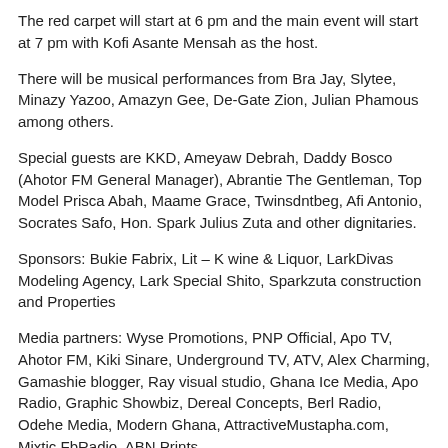The red carpet will start at 6 pm and the main event will start at 7 pm with Kofi Asante Mensah as the host.
There will be musical performances from Bra Jay, Slytee, Minazy Yazoo, Amazyn Gee, De-Gate Zion, Julian Phamous among others.
Special guests are KKD, Ameyaw Debrah, Daddy Bosco (Ahotor FM General Manager), Abrantie The Gentleman, Top Model Prisca Abah, Maame Grace, Twinsdntbeg, Afi Antonio, Socrates Safo, Hon. Spark Julius Zuta and other dignitaries.
Sponsors: Bukie Fabrix, Lit – K wine & Liquor, LarkDivas Modeling Agency, Lark Special Shito, Sparkzuta construction and Properties
Media partners: Wyse Promotions, PNP Official, Apo TV, Ahotor FM, Kiki Sinare, Underground TV, ATV, Alex Charming, Gamashie blogger, Ray visual studio, Ghana Ice Media, Apo Radio, Graphic Showbiz, Dereal Concepts, Berl Radio, Odehe Media, Modern Ghana, AttractiveMustapha.com, Mixtic FbRadio, ABN Prints.